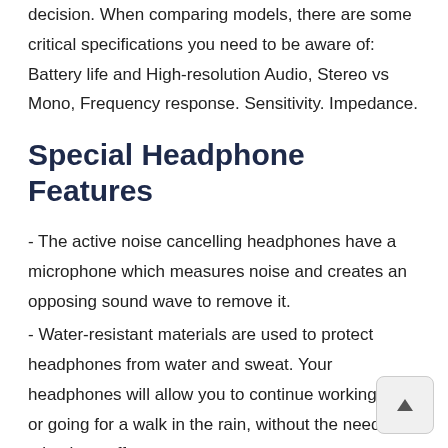decision. When comparing models, there are some critical specifications you need to be aware of: Battery life and High-resolution Audio, Stereo vs Mono, Frequency response. Sensitivity. Impedance.
Special Headphone Features
- The active noise cancelling headphones have a microphone which measures noise and creates an opposing sound wave to remove it.
- Water-resistant materials are used to protect headphones from water and sweat. Your headphones will allow you to continue working out or going for a walk in the rain, without the need to take them off.
- The voice assistants are headphones that allow y manage music, listen to messages, and receive answers